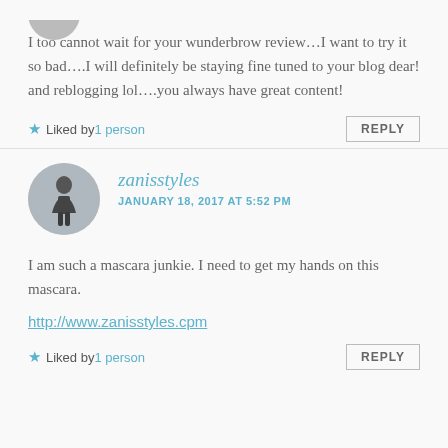I too cannot wait for your wunderbrow review...I want to try it so bad....I will definitely be staying fine tuned to your blog dear! and reblogging lol....you always have great content!
★ Liked by 1 person
REPLY
zanisstyles
JANUARY 18, 2017 AT 5:52 PM
I am such a mascara junkie. I need to get my hands on this mascara.
http://www.zanisstyles.cpm
★ Liked by 1 person
REPLY